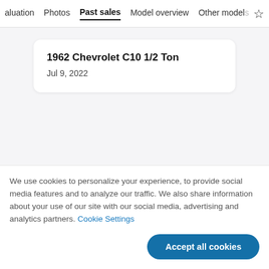aluation  Photos  Past sales  Model overview  Other models
1962 Chevrolet C10 1/2 Ton
Jul 9, 2022
We use cookies to personalize your experience, to provide social media features and to analyze our traffic. We also share information about your use of our site with our social media, advertising and analytics partners. Cookie Settings
Accept all cookies